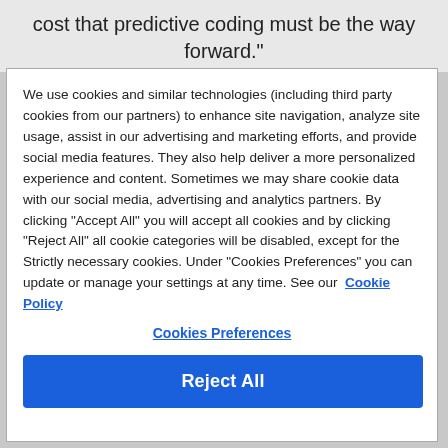cost that predictive coding must be the way forward."
We use cookies and similar technologies (including third party cookies from our partners) to enhance site navigation, analyze site usage, assist in our advertising and marketing efforts, and provide social media features. They also help deliver a more personalized experience and content. Sometimes we may share cookie data with our social media, advertising and analytics partners. By clicking "Accept All" you will accept all cookies and by clicking "Reject All" all cookie categories will be disabled, except for the Strictly necessary cookies. Under "Cookies Preferences" you can update or manage your settings at any time. See our  Cookie Policy
Cookies Preferences
Reject All